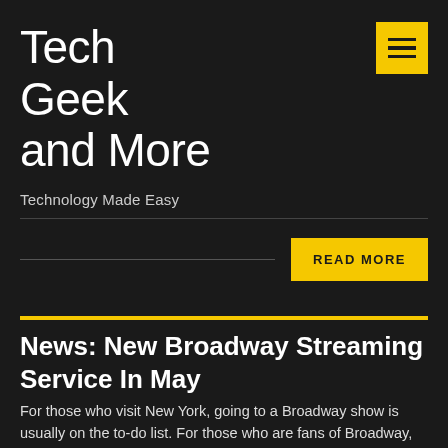Tech Geek and More
[Figure (other): Yellow hamburger menu button icon with three horizontal lines]
Technology Made Easy
READ MORE
News: New Broadway Streaming Service In May
For those who visit New York, going to a Broadway show is usually on the to-do list. For those who are fans of Broadway, even if you aren't in NY, there is a new service coming Mid-May,